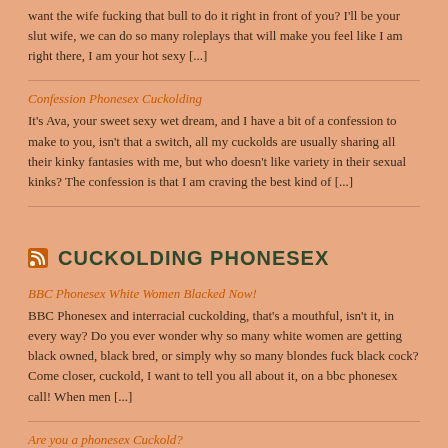want the wife fucking that bull to do it right in front of you? I'll be your slut wife, we can do so many roleplays that will make you feel like I am right there, I am your hot sexy [...]
Confession Phonesex Cuckolding
It's Ava, your sweet sexy wet dream, and I have a bit of a confession to make to you, isn't that a switch, all my cuckolds are usually sharing all their kinky fantasies with me, but who doesn't like variety in their sexual kinks? The confession is that I am craving the best kind of [...]
CUCKOLDING PHONESEX
BBC Phonesex White Women Blacked Now!
BBC Phonesex and interracial cuckolding, that's a mouthful, isn't it, in every way? Do you ever wonder why so many white women are getting black owned, black bred, or simply why so many blondes fuck black cock? Come closer, cuckold, I want to tell you all about it, on a bbc phonesex call! When men [...]
Are you a phonesex Cuckold?
Are you a phonesex Cuckold? Are you a cuckold, the kind that can only be satisfied by a cuckolding phonesex girl? After “does sucking bbc make me gay?’, the most asked questions I get is, “How do I know if I’m a cuckold”? Am I a cuckold? If you are asking questions about cuckolding, wanting [...]
Forced Bi Phonesex Deep Throating BBC